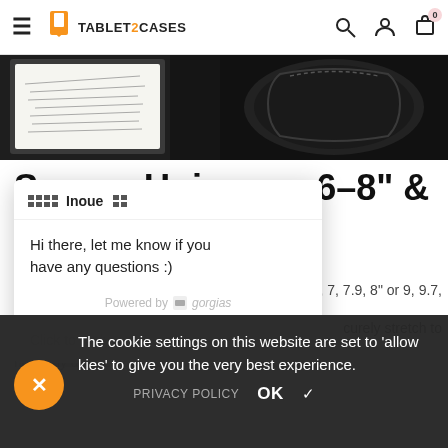TABLET2CASES — navigation header with hamburger menu, logo, search, account, and cart (0 items) icons
[Figure (photo): Two product photos partially visible: left shows a tablet case with a device inserted showing handwritten notes, right shows a black zipper case]
Secure Universal 6-8" & ... let Case
...of 6, 7, 7.9, 8" or 9, 9.7,
...curely stretch to hold any device in place
[Figure (screenshot): Chat popup from Inoue via Gorgias: 'Hi there, let me know if you have any questions :)' with 'Click to reply' input and 'Powered by gorgias' footer]
The cookie settings on this website are set to 'allow cookies' to give you the very best experience.
PRIVACY POLICY  OK ✓